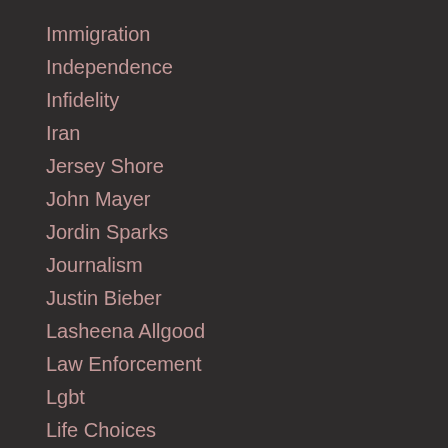Immigration
Independence
Infidelity
Iran
Jersey Shore
John Mayer
Jordin Sparks
Journalism
Justin Bieber
Lasheena Allgood
Law Enforcement
Lgbt
Life Choices
Marriage
Media
Men
Morals
NBA
Oil Leak
Parenting